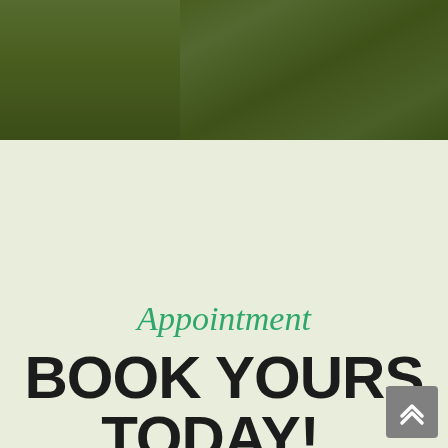[Figure (photo): Dark green outdoor/nature photo banner at top of page]
Appointment
BOOK YOURS TODAY!